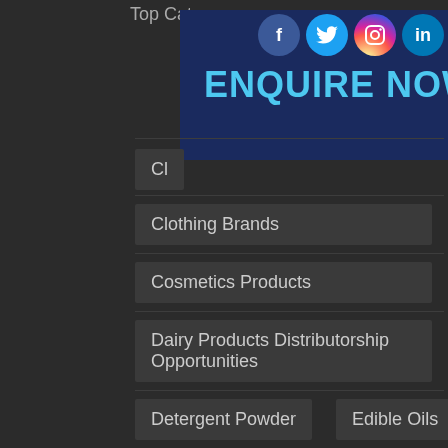Top Category
[Figure (infographic): Enquire Now banner with dark navy background, cyan text saying ENQUIRE NOW, and a cyan arrow button on the right]
[Figure (infographic): Social media icons row: Facebook, Twitter, Instagram, LinkedIn]
Cl... (partially visible)
Clothing Brands
Cosmetics Products
Dairy Products Distributorship Opportunities
Detergent Powder
Edible Oils
Electronics Products
FMCG Opportunities
FMCG Products
Food & Beverage Distributorship